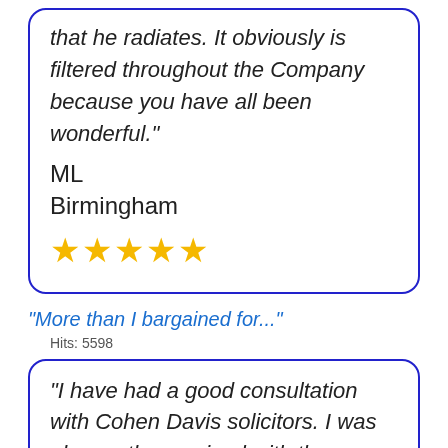that he radiates. It obviously is filtered throughout the Company because you have all been wonderful."
ML
Birmingham
★★★★★
"More than I bargained for..."
Hits: 5598
"I have had a good consultation with Cohen Davis solicitors. I was pleasantly surprised with the service. I felt that the quality of the advice I was given was more than I bargained for...